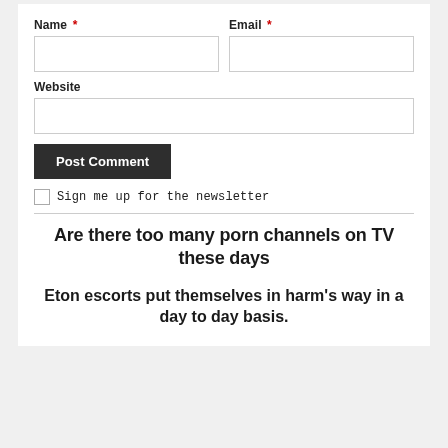Name *
Email *
Website
Post Comment
Sign me up for the newsletter
Are there too many porn channels on TV these days
Eton escorts put themselves in harm’s way in a day to day basis.